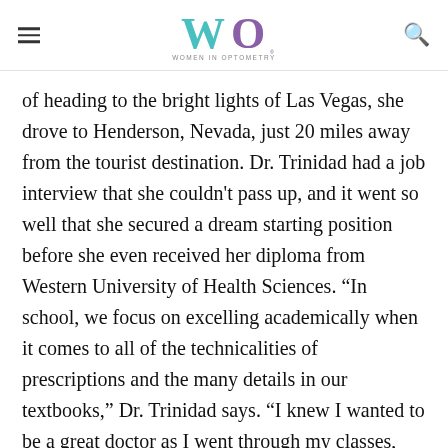Women in Optometry logo with hamburger menu and search icon
of heading to the bright lights of Las Vegas, she drove to Henderson, Nevada, just 20 miles away from the tourist destination. Dr. Trinidad had a job interview that she couldn't pass up, and it went so well that she secured a dream starting position before she even received her diploma from Western University of Health Sciences. “In school, we focus on excelling academically when it comes to all of the technicalities of prescriptions and the many details in our textbooks,” Dr. Trinidad says. “I knew I wanted to be a great doctor as I went through my classes, but I also knew I wanted to be strong on the business side. My experience as an